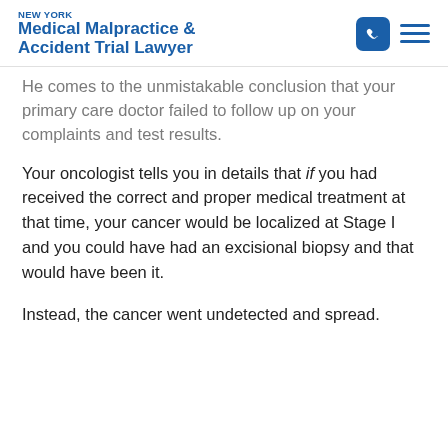NEW YORK Medical Malpractice & Accident Trial Lawyer
He comes to the unmistakable conclusion that your primary care doctor failed to follow up on your complaints and test results.
Your oncologist tells you in details that if you had received the correct and proper medical treatment at that time, your cancer would be localized at Stage I and you could have had an excisional biopsy and that would have been it.
Instead, the cancer went undetected and spread.